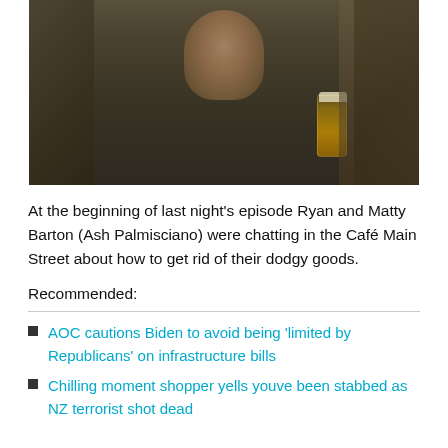[Figure (photo): A young man with dark hair sitting in a dim bar or pub, wearing an olive green henley shirt, with a pint of beer visible to his right side.]
At the beginning of last night's episode Ryan and Matty Barton (Ash Palmisciano) were chatting in the Café Main Street about how to get rid of their dodgy goods.
Recommended:
AOC cautions Biden to avoid being 'limited by Republicans' on infrastructure bills
Chilling moment shopper yells youve been stabbed as NZ terrorist shot dead